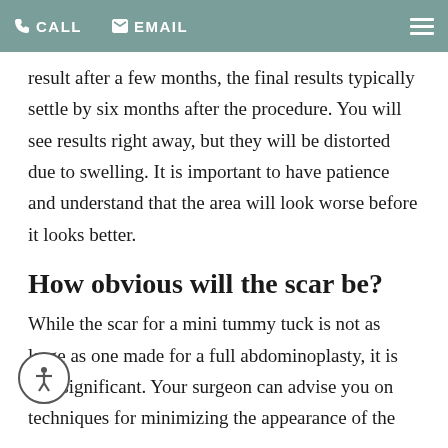CALL  EMAIL
result after a few months, the final results typically settle by six months after the procedure. You will see results right away, but they will be distorted due to swelling. It is important to have patience and understand that the area will look worse before it looks better.
How obvious will the scar be?
While the scar for a mini tummy tuck is not as large as one made for a full abdominoplasty, it is still significant. Your surgeon can advise you on techniques for minimizing the appearance of the